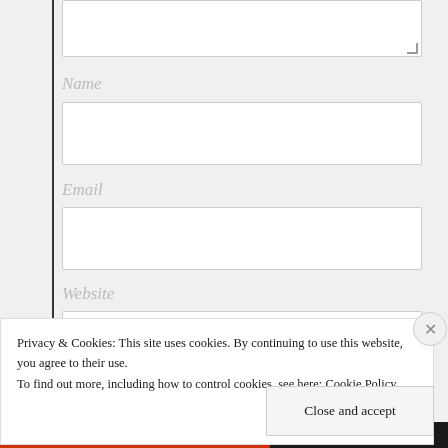[Figure (screenshot): Web form with Name, Email, Website input fields on a light gray background with a left border]
Name
Email
Website
Privacy & Cookies: This site uses cookies. By continuing to use this website, you agree to their use.
To find out more, including how to control cookies, see here: Cookie Policy
Close and accept